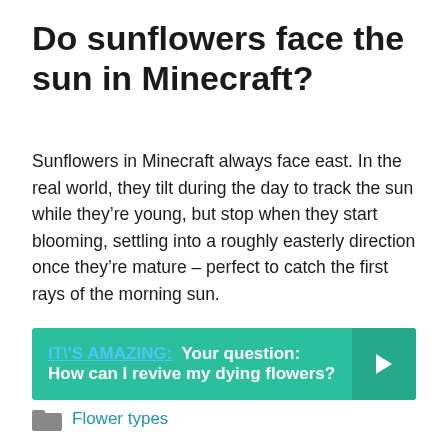Do sunflowers face the sun in Minecraft?
Sunflowers in Minecraft always face east. In the real world, they tilt during the day to track the sun while they’re young, but stop when they start blooming, settling into a roughly easterly direction once they’re mature – perfect to catch the first rays of the morning sun.
IT\'S AMAZING: Your question: How can I revive my dying flowers?
Flower types